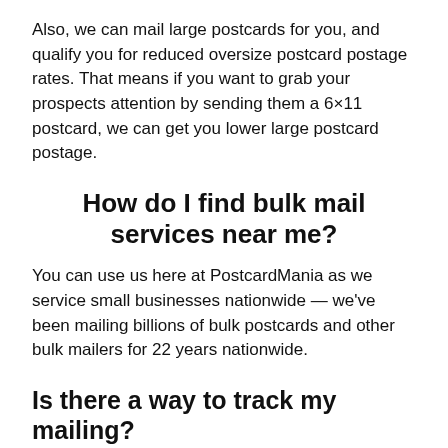Also, we can mail large postcards for you, and qualify you for reduced oversize postcard postage rates. That means if you want to grab your prospects attention by sending them a 6×11 postcard, we can get you lower large postcard postage.
How do I find bulk mail services near me?
You can use us here at PostcardMania as we service small businesses nationwide — we've been mailing billions of bulk postcards and other bulk mailers for 22 years nationwide.
Is there a way to track my mailing?
Absolutely! We offer a bulk mail tracking report...